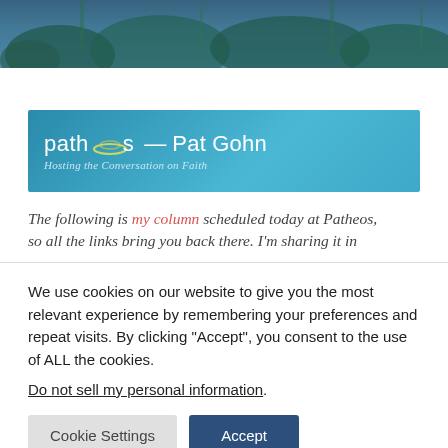[Figure (photo): Dark blue-green hero image of foliage/plants at the top of the page]
[Figure (logo): Patheos banner with 'patheos Pat Gohn' logo text and tagline 'Hosting the Conversation on Faith' on a teal gradient background]
The following is my column scheduled today at Patheos, so all the links bring you back there. I'm sharing it in
We use cookies on our website to give you the most relevant experience by remembering your preferences and repeat visits. By clicking "Accept", you consent to the use of ALL the cookies. Do not sell my personal information.
Cookie Settings
Accept